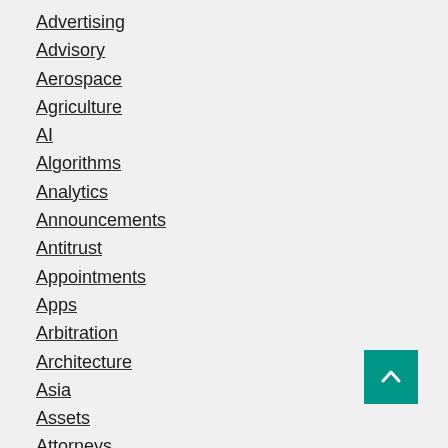Advertising
Advisory
Aerospace
Agriculture
AI
Algorithms
Analytics
Announcements
Antitrust
Appointments
Apps
Arbitration
Architecture
Asia
Assets
Attorneys
Audit
[Figure (other): Teal scroll-to-top button with upward chevron arrow]